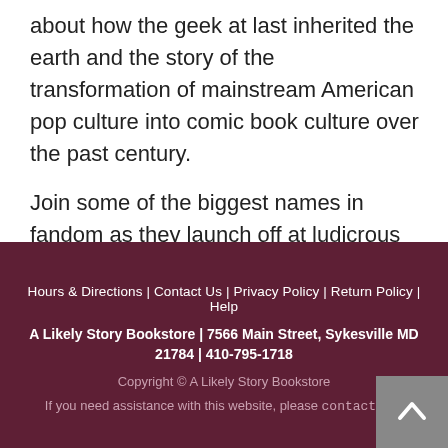about how the geek at last inherited the earth and the story of the transformation of mainstream American pop culture into comic book culture over the past century.

Join some of the biggest names in fandom as they launch off at ludicrous speed into the spiraling
Hours & Directions | Contact Us | Privacy Policy | Return Policy | Help
A Likely Story Bookstore | 7566 Main Street, Sykesville MD 21784 | 410-795-1718
Copyright © A Likely Story Bookstore
If you need assistance with this website, please contact us.